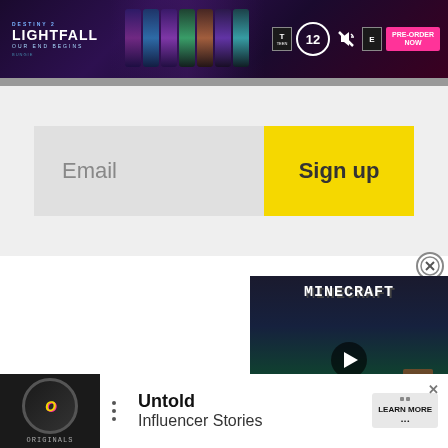[Figure (screenshot): Destiny 2 Lightfall banner advertisement with dark purple/black background, game logo reading 'DESTINY 2 LIGHTFALL OUR END BEGINS', colorful character art strips, ESRB rating, countdown timer showing 12, mute icon, and pink PRE-ORDER NOW button]
[Figure (screenshot): Email signup form with gray email input field and yellow Sign up button]
[Figure (screenshot): Minecraft floating video advertisement with yellow border, dark game scene background, MINECRAFT logo, play button triangle, and MINECRAFT! text at bottom]
[Figure (screenshot): Bottom banner advertisement with dark Originals logo on left, bullet points, bold text reading 'Untold Influencer Stories', and LEARN MORE button on right]